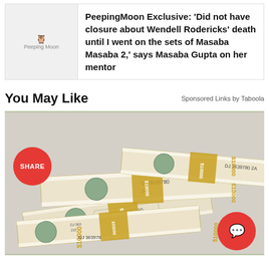[Figure (illustration): PeepingMoon logo thumbnail in a light gray box]
PeepingMoon Exclusive: 'Did not have closure about Wendell Rodericks' death until I went on the sets of Masaba Masaba 2,' says Masaba Gupta on her mentor
You May Like
Sponsored Links by Taboola
[Figure (photo): Stacks of bundled $10,000 US dollar bills piled on top of each other with a red SHARE button overlay on the left and a red chat button overlay on the bottom right]